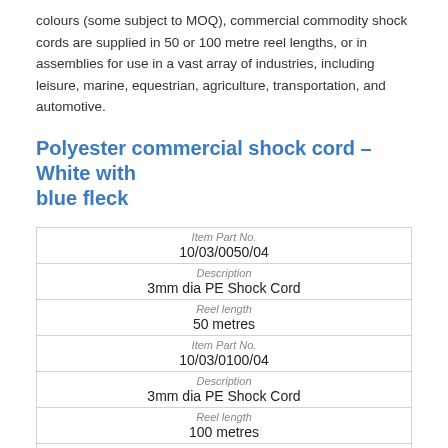colours (some subject to MOQ), commercial commodity shock cords are supplied in 50 or 100 metre reel lengths, or in assemblies for use in a vast array of industries, including leisure, marine, equestrian, agriculture, transportation, and automotive.
Polyester commercial shock cord – White with blue fleck
| Item Part No. | 10/03/0050/04 |
| Description | 3mm dia PE Shock Cord |
| Reel length | 50 metres |
| Item Part No. | 10/03/0100/04 |
| Description | 3mm dia PE Shock Cord |
| Reel length | 100 metres |
| Item Part No. |  |